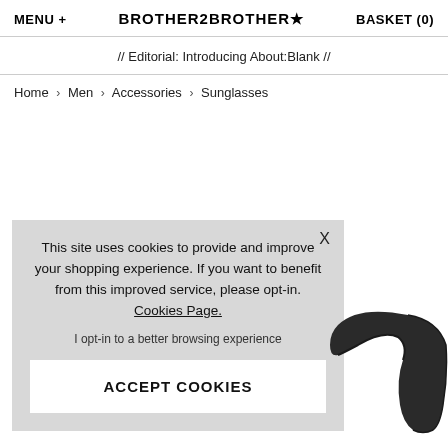MENU + | BROTHER2BROTHER★ | BASKET (0)
// Editorial: Introducing About:Blank //
Home › Men › Accessories › Sunglasses
This site uses cookies to provide and improve your shopping experience. If you want to benefit from this improved service, please opt-in. Cookies Page. I opt-in to a better browsing experience
ACCEPT COOKIES
[Figure (photo): Dark-colored sunglasses frame/arm visible at right edge of cookie overlay]